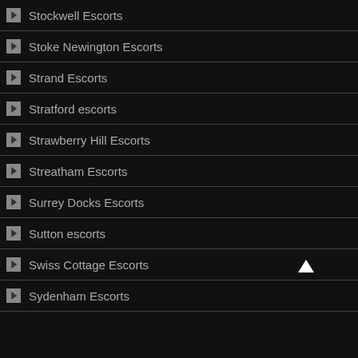Stockwell Escorts
Stoke Newington Escorts
Strand Escorts
Stratford escorts
Strawberry Hill Escorts
Streatham Escorts
Surrey Docks Escorts
Sutton escorts
Swiss Cottage Escorts
Sydenham Escorts